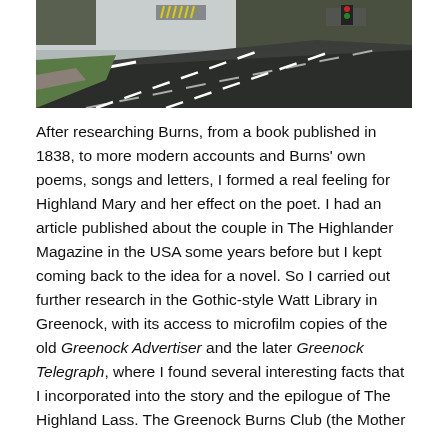[Figure (photo): A photograph of a road intersection or roundabout scene. A dark asphalt road with white lane markings curves through the scene. Green grass and trees are visible on the left side, along with a stone or concrete curb. Road signs and structures are visible in the background. The sky is overcast and grey.]
After researching Burns, from a book published in 1838, to more modern accounts and Burns' own poems, songs and letters, I formed a real feeling for Highland Mary and her effect on the poet. I had an article published about the couple in The Highlander Magazine in the USA some years before but I kept coming back to the idea for a novel. So I carried out further research in the Gothic-style Watt Library in Greenock, with its access to microfilm copies of the old Greenock Advertiser and the later Greenock Telegraph, where I found several interesting facts that I incorporated into the story and the epilogue of The Highland Lass. The Greenock Burns Club (the Mother